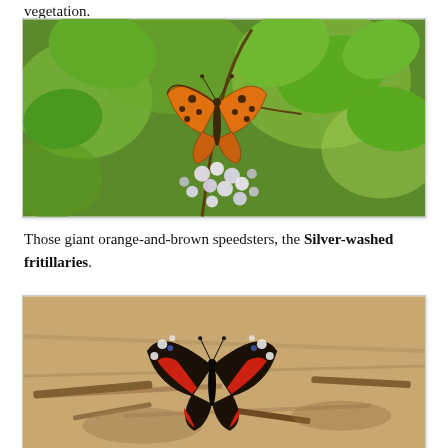vegetation.
[Figure (photo): A Silver-washed fritillary butterfly, orange with black spots, perched on white/pink blackberry flowers, surrounded by green leaves.]
Those giant orange-and-brown speedsters, the Silver-washed fritillaries.
[Figure (photo): A Red Admiral butterfly with dark wings, red bands and white spots, resting on sandy/woody ground.]